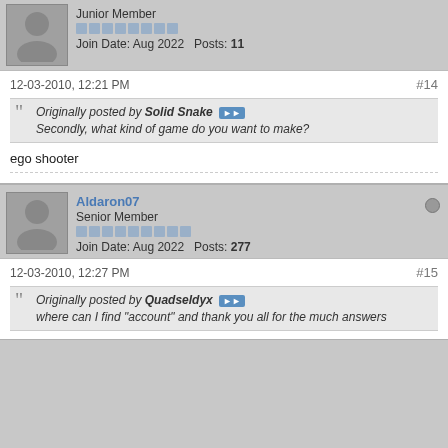Junior Member
Join Date: Aug 2022   Posts: 11
12-03-2010, 12:21 PM
#14
Originally posted by Solid Snake
Secondly, what kind of game do you want to make?
ego shooter
Aldaron07
Senior Member
Join Date: Aug 2022   Posts: 277
12-03-2010, 12:27 PM
#15
Originally posted by Quadseldyx
where can I find "account" and thank you all for the much answers